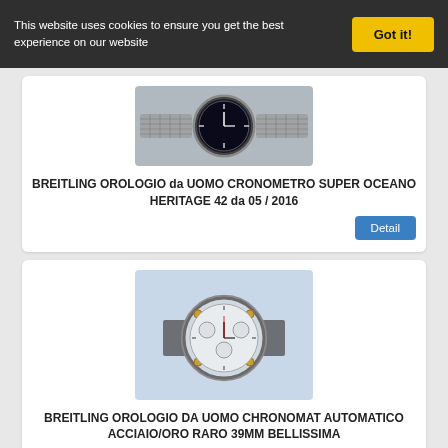This website uses cookies to ensure you get the best experience on our website
Got it!
[Figure (photo): Photo of a Breitling Super Ocean Heritage 42 men's watch with black dial and mesh bracelet, viewed from above]
BREITLING OROLOGIO da UOMO CRONOMETRO SUPER OCEANO HERITAGE 42 da 05 / 2016
Detail
[Figure (photo): Photo of a Breitling Chronomat automatic men's watch with white dial, steel and gold case, 39mm]
BREITLING OROLOGIO DA UOMO CHRONOMAT AUTOMATICO ACCIAIO/ORO RARO 39MM BELLISSIMA
Detail